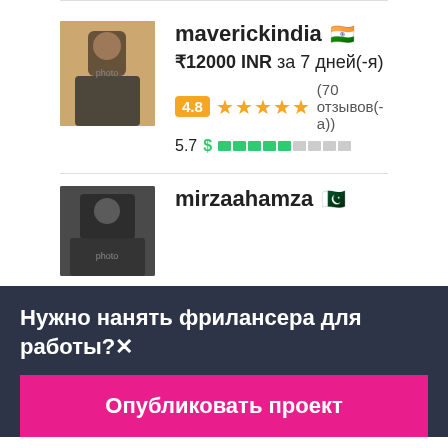maverickindia 🇮🇳
₹12000 INR за 7 дней(-я)
4.8 ★★★★★ (70 отзывов(-а))
5.7 $ ████████
mirzaahamza 🇵🇰
Нужно нанять фрилансера для работы?✕
Опубликовать проект